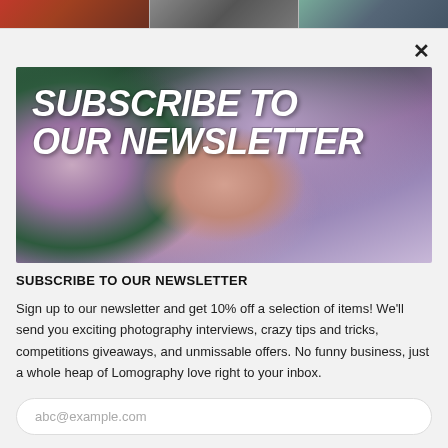[Figure (photo): Top strip of three partially visible photography images in a row]
[Figure (photo): Newsletter subscription banner image showing a person's face partially hidden among purple lilac flowers with bold white italic text 'SUBSCRIBE TO OUR NEWSLETTER' overlaid]
SUBSCRIBE TO OUR NEWSLETTER
Sign up to our newsletter and get 10% off a selection of items! We'll send you exciting photography interviews, crazy tips and tricks, competitions giveaways, and unmissable offers. No funny business, just a whole heap of Lomography love right to your inbox.
abc@example.com